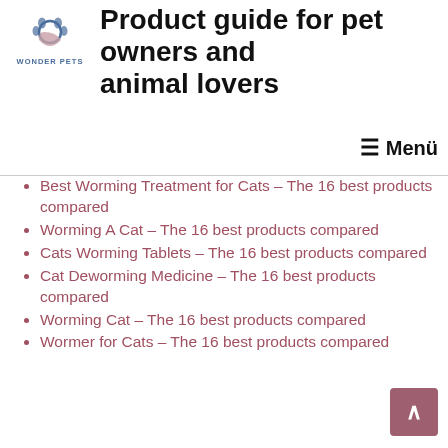[Figure (logo): Wonder Pets logo with a paw print icon and text 'WONDER PETS' in blue]
Product guide for pet owners and animal lovers
≡ Menü
Best Worming Treatment for Cats – The 16 best products compared
Worming A Cat – The 16 best products compared
Cats Worming Tablets – The 16 best products compared
Cat Deworming Medicine – The 16 best products compared
Worming Cat – The 16 best products compared
Wormer for Cats – The 16 best products compared